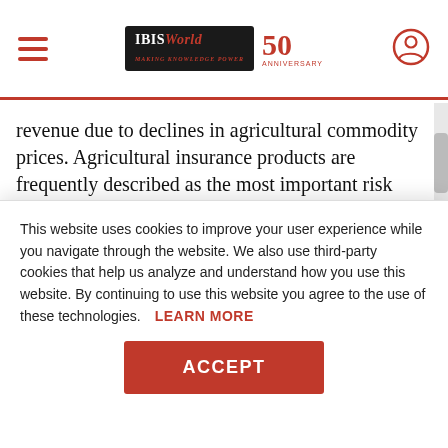IBISWorld 50th Anniversary
revenue due to declines in agricultural commodity prices. Agricultural insurance products are frequently described as the most important risk management tool for farmers. Increases in total crop contracts and insured acreage over the past five years have coincided with increasing
This website uses cookies to improve your user experience while you navigate through the website. We also use third-party cookies that help us analyze and understand how you use this website. By continuing to use this website you agree to the use of these technologies. LEARN MORE
ACCEPT